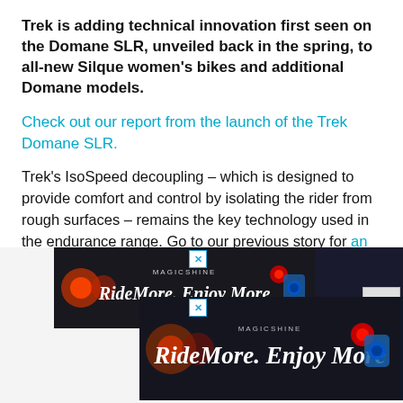Trek is adding technical innovation first seen on the Domane SLR, unveiled back in the spring, to all-new Silque women's bikes and additional Domane models.
Check out our report from the launch of the Trek Domane SLR.
Trek's IsoSpeed decoupling – which is designed to provide comfort and control by isolating the rider from rough surfaces – remains the key technology used in the endurance range. Go to our previous story for an explanation of how it works.
[Figure (screenshot): Two overlapping advertisement banners for Magicshine brand showing cycling lights on a dark background with text 'RideMore. Enjoy More', with close (X) buttons.]